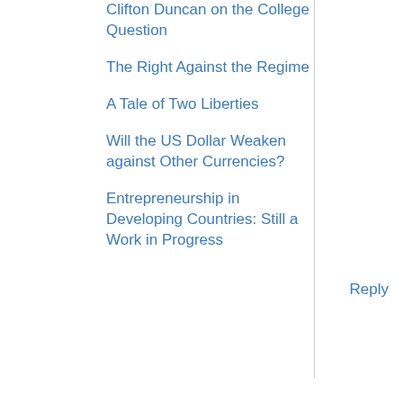Clifton Duncan on the College Question
The Right Against the Regime
A Tale of Two Liberties
Will the US Dollar Weaken against Other Currencies?
Entrepreneurship in Developing Countries: Still a Work in Progress
Reply